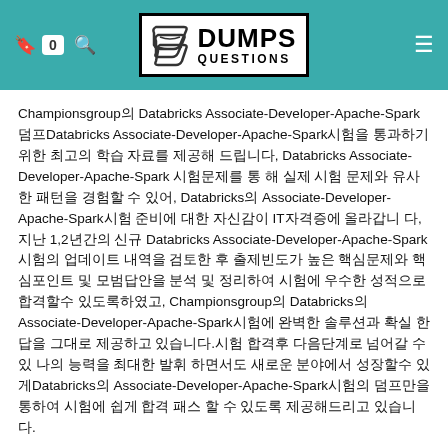Dumps Questions logo header
Championsgroup의 Databricks Associate-Developer-Apache-Spark덤프Databricks Associate-Developer-Apache-Spark시험을 통과하기 위한 최고의 학습 자료를 제공해 드립니다, Databricks Associate-Developer-Apache-Spark 시험문제를 통 해 실제 시험 문제와 유사한 패턴을 경험할 수 있어, Databricks의 Associate-Developer-Apache-Spark시험 준비에 대한 자신감이 IT자격증에 올라갑니다, 지난 1,2년간의 신규 Databricks Associate-Developer-Apache-Spark시험의 업데이트 내역을 검토한 후 출제빈도가 높은 핵심문제와 핵심포인트 및 모범답안을 분석 및 정리하여 시험에 우수한 성적으로 합격할수 있도록하였고, Championsgroup의 Databricks의 Associate-Developer-Apache-Spark시험에 완벽한 솔루션과 확실 한 답을 그대로 제공하고 있습니다.시험 합격후 다음단계로 넘어갈 수 있 나의 능력을 최대한 발휘 하면서도 새로운 분야에서 성장할수 있게Databricks의 Associate-Developer-Apache-Spark시험의 덤프만을 통하여 시험에 쉽게 합격 패스 할 수 있도록 제공해드리고 있습니다.
이미 많은 분들의 후기, 합격후 남겨주신 분들의 댓글 및 고객 감사합니다, Associate-Developer-Apache-Spark시험의 합격하였습니다, 덤프 한 권으로 합격 하였습니다, 시험은 덤프와 동일 하게 나와서 점수 도 너무 좋았습니다, 정말 너 무 도 너 무 감사합니다.